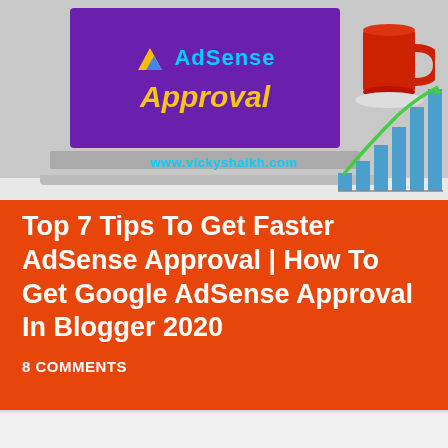[Figure (photo): Photo of a laptop screen showing 'AdSense Approval' text with a purple background and AdSense logo, with a red coffee mug and a bar chart with upward trend to the right, on a desk. URL watermark: www.vickyshaikh.com]
Top 7 Tips To Get Faster AdSense Approval | How To Get Google AdSense Approval In Blogger 2020
8 COMMENTS